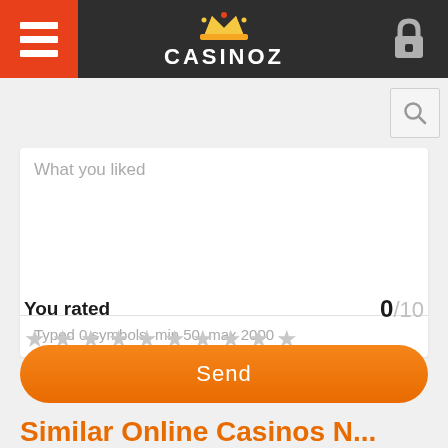[Figure (screenshot): Casinoz website header with hamburger menu on left (orange/red background), crown logo and CASINOZ text in center (dark background), and lock icon on right (dark background)]
[Figure (screenshot): Search icon button (magnifying glass) in top right area of page body]
What you liked
Typed 0 symbols, min 50, max 2000
You rated
0/10
[Figure (illustration): Ten grey star rating icons in a row]
Send
Similar Online Casinos N...